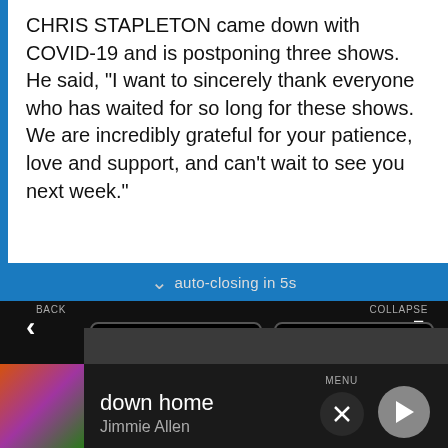CHRIS STAPLETON came down with COVID-19 and is postponing three shows. He said, "I want to sincerely thank everyone who has waited for so long for these shows. We are incredibly grateful for your patience, love and support, and can't wait to see you next week."
[Figure (screenshot): Dark app navigation overlay with auto-closing in 5s message and menu buttons: PLAYLIST, TOP HITS, LISTEN LIVE, MY VOTES, CONTROLS. Data opt-out toggle. Now playing bar showing 'down home' by Jimmie Allen.]